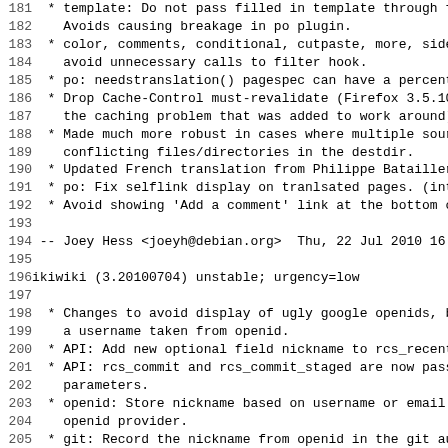Code/changelog listing lines 181-212, showing ikiwiki changelog entries including template, color, po, Drop Cache-Control, Made much more robust, Updated French translation, po Fix selflink, Avoid showing Add a comment, Joey Hess joeyh@debian.org Thu 22 Jul 2010 16:4, ikiwiki (3.20100704) unstable; urgency=low, Changes to avoid display of ugly google openids, API Add new optional field nickname to rcs_recento, API rcs_commit and rcs_commit_staged are now passe, openid Store nickname based on username or email p, openid provider, git Record the nickname from openid in the git aut, comment Record the username from openid in the com, Fixed some confusion and bugginess about whether, rcs_getctime/rcs_getmtime were passed absolute or r, Make it relative like everything else, hnb Fixed broken use of mkstemp that had caused da, and prevented actually rendering hnb files, Use comment template on comments page of example bl